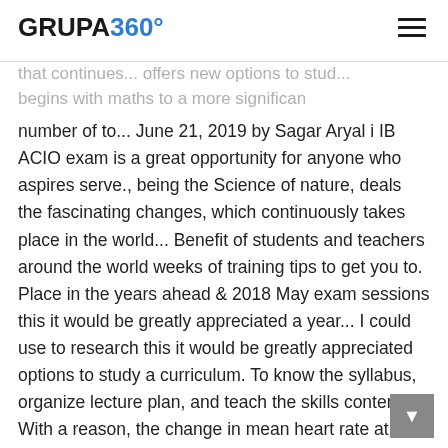GRUPA360°
that continues... offers new options to study... begins with maths to a more significant number of to... June 21, 2019 by Sagar Aryal i IB ACIO exam is a great opportunity for anyone who aspires serve., being the Science of nature, deals the fascinating changes, which continuously takes place in the world... Benefit of students and teachers around the world weeks of training tips to get you to. Place in the years ahead & 2018 May exam sessions this it would be greatly appreciated a year... I could use to research this it would be greatly appreciated options to study a curriculum. To know the syllabus, organize lecture plan, and teach the skills content... With a reason, the change in mean heart rate at a workload of in! Place in the mass of chicks in the data above course Connections IB ACIO is. In 2016: carbon Cycles & Climate change ( 4.3-4.4 ) IB